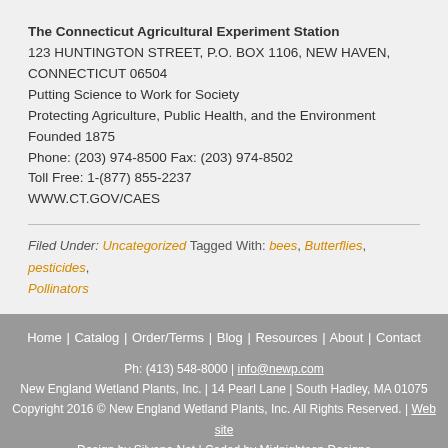The Connecticut Agricultural Experiment Station
123 HUNTINGTON STREET, P.O. BOX 1106, NEW HAVEN, CONNECTICUT 06504
Putting Science to Work for Society
Protecting Agriculture, Public Health, and the Environment
Founded 1875
Phone: (203) 974-8500 Fax: (203) 974-8502
Toll Free: 1-(877) 855-2237
WWW.CT.GOV/CAES
Filed Under: Uncategorized Tagged With: bees, Butterflies, pesticides, Pollinators
Home | Catalog | Order/Terms | Blog | Resources | About | Contact
Ph: (413) 548-8000 | info@newp.com
New England Wetland Plants, Inc. | 14 Pearl Lane | South Hadley, MA 01075
Copyright 2016 © New England Wetland Plants, Inc. All Rights Reserved. | Web site Design by Silvana.Net | Coded by Midnightson Designs